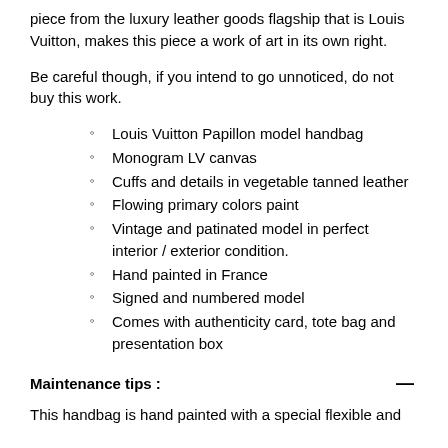piece from the luxury leather goods flagship that is Louis Vuitton, makes this piece a work of art in its own right.
Be careful though, if you intend to go unnoticed, do not buy this work.
Louis Vuitton Papillon model handbag
Monogram LV canvas
Cuffs and details in vegetable tanned leather
Flowing primary colors paint
Vintage and patinated model in perfect interior / exterior condition.
Hand painted in France
Signed and numbered model
Comes with authenticity card, tote bag and presentation box
Maintenance tips :
This handbag is hand painted with a special flexible and